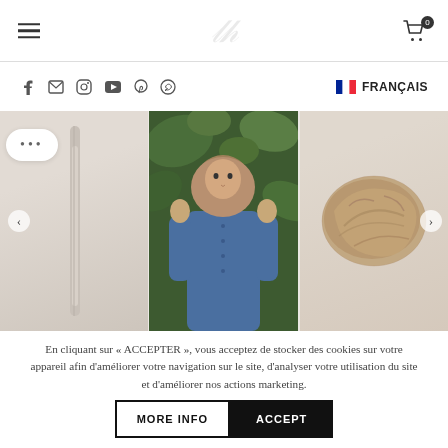≡  [logo]  🛒 0
f ✉ Instagram YouTube Pinterest WhatsApp      🇫🇷 FRANÇAIS
[Figure (photo): E-commerce website screenshot showing a fashion/hijab store with three product images in a carousel: a beige scarf hang, a woman in a denim jacket wearing a hijab standing in front of green leaves, and a bundled tan/beige scarf.]
En cliquant sur « ACCEPTER », vous acceptez de stocker des cookies sur votre appareil afin d'améliorer votre navigation sur le site, d'analyser votre utilisation du site et d'améliorer nos actions marketing.
MORE INFO
ACCEPT